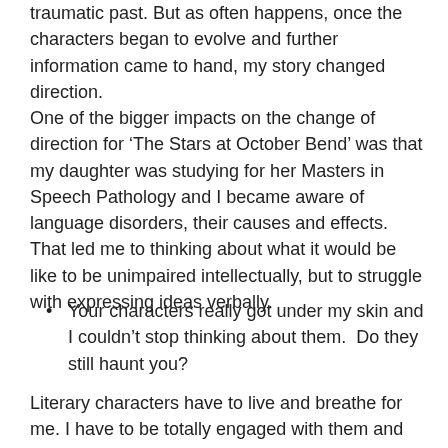traumatic past. But as often happens, once the characters began to evolve and further information came to hand, my story changed direction. One of the bigger impacts on the change of direction for ‘The Stars at October Bend’ was that my daughter was studying for her Masters in Speech Pathology and I became aware of language disorders, their causes and effects. That led me to thinking about what it would be like to be unimpaired intellectually, but to struggle with expressing ideas verbally.
Your characters really got under my skin and I couldn’t stop thinking about them.  Do they still haunt you?
Literary characters have to live and breathe for me. I have to be totally engaged with them and believe in them otherwise I can’t imagine how other people will. I